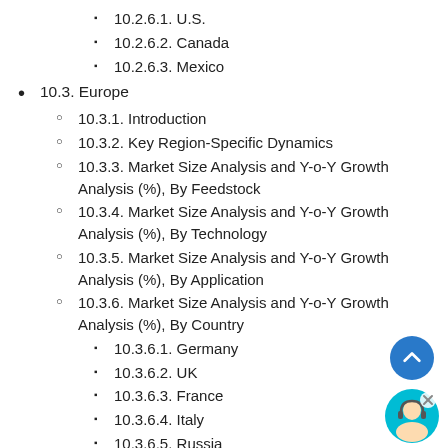10.2.6.1. U.S.
10.2.6.2. Canada
10.2.6.3. Mexico
10.3. Europe
10.3.1. Introduction
10.3.2. Key Region-Specific Dynamics
10.3.3. Market Size Analysis and Y-o-Y Growth Analysis (%), By Feedstock
10.3.4. Market Size Analysis and Y-o-Y Growth Analysis (%), By Technology
10.3.5. Market Size Analysis and Y-o-Y Growth Analysis (%), By Application
10.3.6. Market Size Analysis and Y-o-Y Growth Analysis (%), By Country
10.3.6.1. Germany
10.3.6.2. UK
10.3.6.3. France
10.3.6.4. Italy
10.3.6.5. Russia
10.3.6.6. Rest of E...